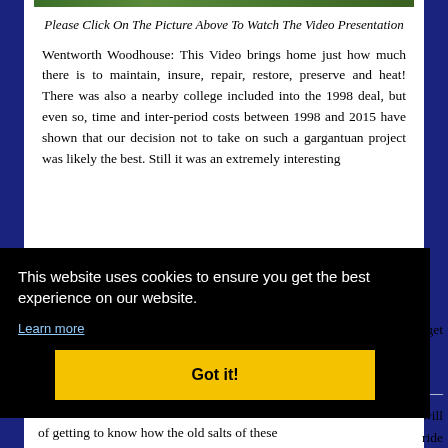[Figure (photo): Green outdoor/garden scene image strip at top of page]
Please Click On The Picture Above To Watch The Video Presentation
Wentworth Woodhouse: This Video brings home just how much there is to maintain, insure, repair, restore, preserve and heat! There was also a nearby college included into the 1998 deal, but even so, time and inter-period costs between 1998 and 2015 have shown that our decision not to take on such a gargantuan project was likely the best. Still it was an extremely interesting [get] [...] will [...] ride [...] get [...] ace of getting to know how the old salts of these
This website uses cookies to ensure you get the best experience on our website.
Learn more
Got it!